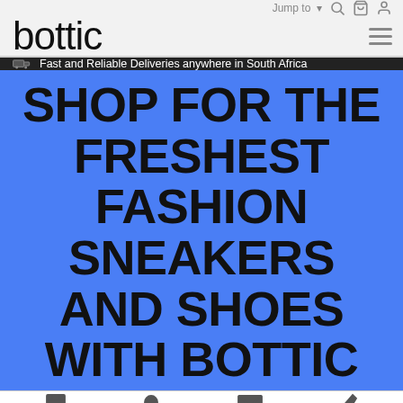Jump to ▾
bottic
🚚 Fast and Reliable Deliveries anywhere in South Africa
SHOP FOR THE FRESHEST FASHION SNEAKERS AND SHOES WITH BOTTIC
SHOP | SEARCH | SUPPORT | ORDERS